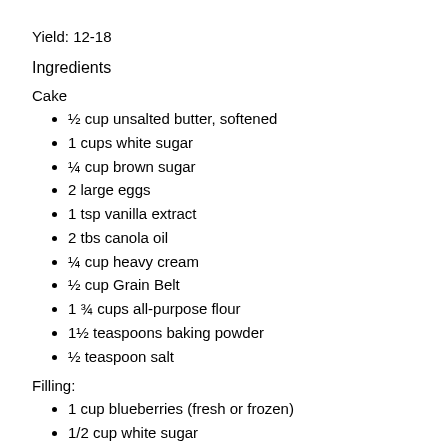Yield: 12-18
Ingredients
Cake
½ cup unsalted butter, softened
1 cups white sugar
¼ cup brown sugar
2 large eggs
1 tsp vanilla extract
2 tbs canola oil
¼ cup heavy cream
½ cup Grain Belt
1 ¾ cups all-purpose flour
1½ teaspoons baking powder
½ teaspoon salt
Filling:
1 cup blueberries (fresh or frozen)
1/2 cup white sugar